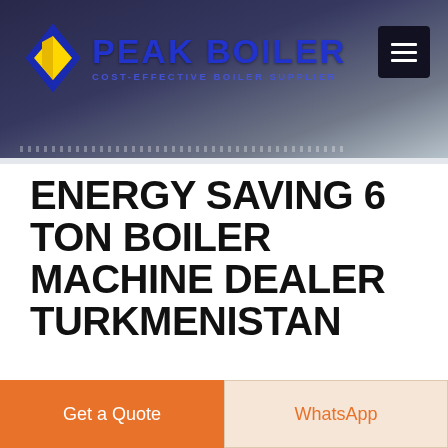[Figure (logo): Peak Boiler logo with yellow diamond shape and blue text reading PEAK BOILER, subtitle COST-EFFECTIVE BOILER SUPPLIER, with hamburger menu button on right]
ENERGY SAVING 6 TON BOILER MACHINE DEALER TURKMENISTAN
boiler machine industrial manufacturing companies 20t ukraine. 6 Ton Boiler Plant Industrial Best Selling Belarus Steam boiler Types-ZBG Best-selling steam boilers models: WNS 1 ton ~ 20 ton Fire Tube Oil And Gas Fired Boiler. SZS 4 ton~35 ton D Type Water Tube Oil And Gas Boiler. DZL 2 ton ~10 ton Fire-Water Tube. Get a Quote
learn More
Get a Quote
WhatsApp